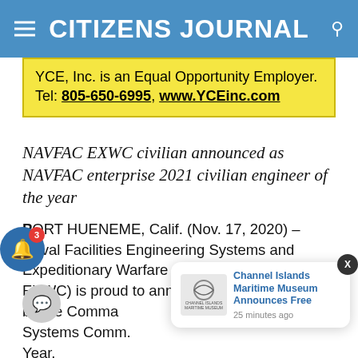CITIZENS JOURNAL
YCE, Inc. is an Equal Opportunity Employer. Tel: 805-650-6995, www.YCEinc.com
NAVFAC EXWC civilian announced as NAVFAC enterprise 2021 civilian engineer of the year
PORT HUENEME, Calif. (Nov. 17, 2020) – Naval Facilities Engineering Systems and Expeditionary Warfare Center (NAVFAC EXWC) is proud to announce Josh by the Comma Systems Comm. Year.
[Figure (screenshot): Channel Islands Maritime Museum notification popup with logo, title 'Channel Islands Maritime Museum Announces Free', and timestamp '25 minutes ago']